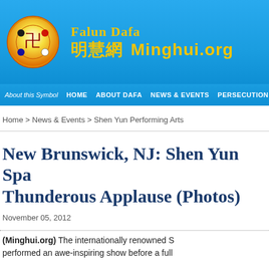[Figure (logo): Falun Dafa / Minghui.org website header banner with circular logo symbol and site name in Chinese and English on blue background]
About this Symbol   HOME   ABOUT DAFA   NEWS & EVENTS   PERSECUTION
Home > News & Events > Shen Yun Performing Arts
New Brunswick, NJ: Shen Yun Spa Thunderous Applause (Photos)
November 05, 2012
(Minghui.org) The internationally renowned S performed an awe-inspiring show before a full